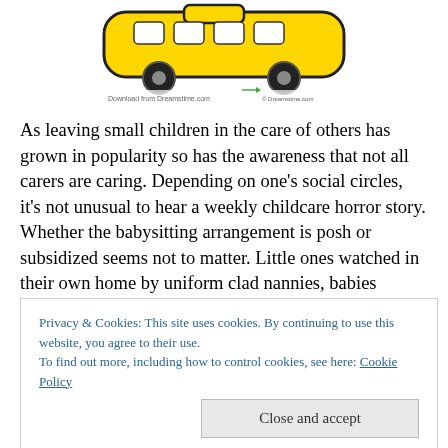[Figure (illustration): Yellow school bus illustration with watermark from Dreamstime.com]
As leaving small children in the care of others has grown in popularity so has the awareness that not all carers are caring. Depending on one’s social circles, it’s not unusual to hear a weekly childcare horror story. Whether the babysitting arrangement is posh or subsidized seems not to matter. Little ones watched in their own home by uniform clad nannies, babies clustered in a neighbor’s living room, or those in daycare centers are equally
Privacy & Cookies: This site uses cookies. By continuing to use this website, you agree to their use.
To find out more, including how to control cookies, see here: Cookie Policy
Many parents have addressed their concerns strategically